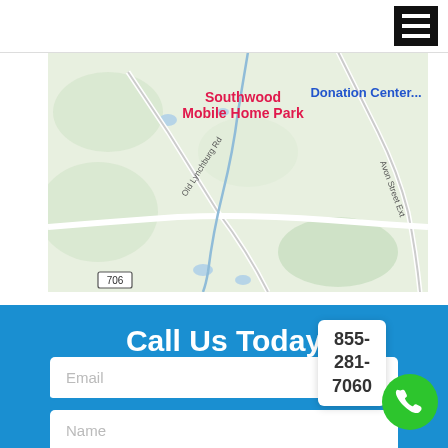[Figure (map): Google Maps view showing Southwood Mobile Home Park, Donation Center, Old Lynchburg Rd, Avon Street Ext, and Route 706 in a green terrain map]
Call Us Today
Email
Name
855-281-7060